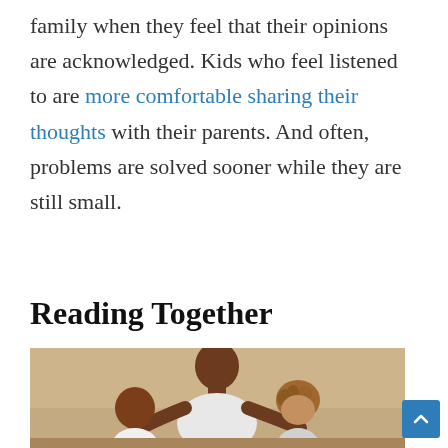family when they feel that their opinions are acknowledged. Kids who feel listened to are more comfortable sharing their thoughts with their parents. And often, problems are solved sooner while they are still small.
Reading Together
[Figure (photo): A father with two young children, all looking downward, seemingly reading together. The father is in the center, with one child on each side. Photo has a warm beige/tan background.]